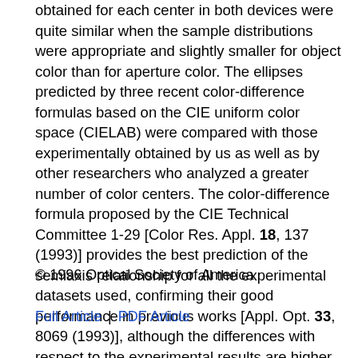obtained for each center in both devices were quite similar when the sample distributions were appropriate and slightly smaller for object color than for aperture color. The ellipses predicted by three recent color-difference formulas based on the CIE uniform color space (CIELAB) were compared with those experimentally obtained by us as well as by other researchers who analyzed a greater number of color centers. The color-difference formula proposed by the CIE Technical Committee 1-29 [Color Res. Appl. 18, 137 (1993)] provides the best prediction of the semiaxis relationship for all the experimental datasets used, confirming their good performance in previous works [Appl. Opt. 33, 8069 (1993)], although the differences with respect to the experimental results are higher than those attributable to the interobserver variability.
© 1996 Optical Society of America
Full Article | PDF Article